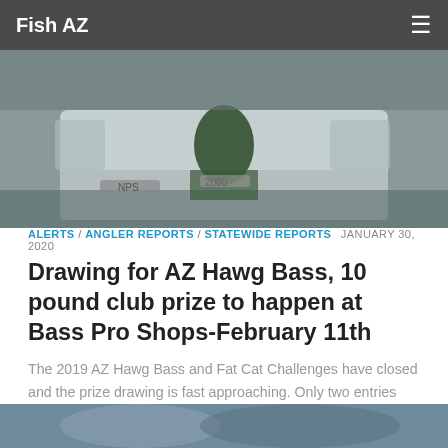Fish AZ
[Figure (photo): Person crouching on a white bass fishing boat on water, with boat motor visible and 'NPS' and '2000' markings on the boat]
ALERTS / ANGLER REPORTS / STATEWIDE REPORTS  JANUARY 30, 2020
Drawing for AZ Hawg Bass, 10 pound club prize to happen at Bass Pro Shops-February 11th
The 2019 AZ Hawg Bass and Fat Cat Challenges have closed and the prize drawing is fast approaching. Only two entries into the 10-pound club for 2019.  One name will be drawn on February 11th at the Bass Pro Shops in Mesa at 7pm. The prize will be worth $1,000....
[Figure (photo): Partial photo visible at bottom of page, appears to show a person outdoors]